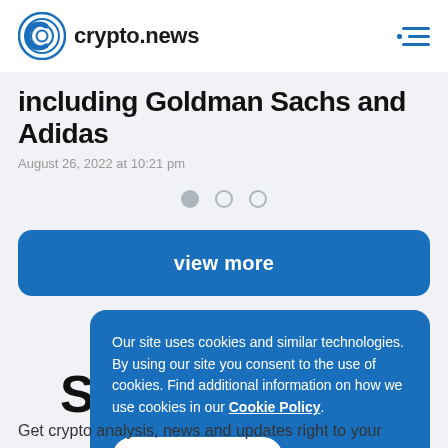crypto.news
including Goldman Sachs and Adidas
August 26, 2022 at 10:21 pm
[Figure (other): Pagination dots: one filled gray dot and two outlined gray dots]
view more
Our site uses cookies and similar technologies. By using our site you consent to the use of cookies. Find additional information on how we use cookies in our Cookie Policy.
I accept cookies
Get crypto analysis, news and updates right to your